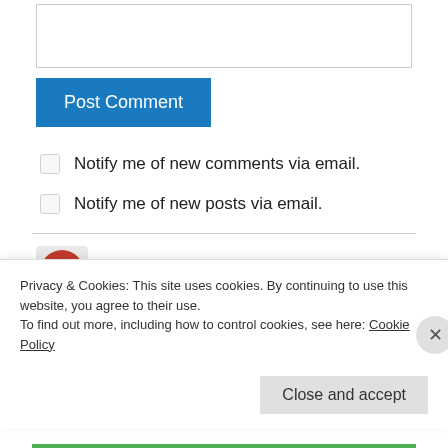[textarea input box]
Post Comment
Notify me of new comments via email.
Notify me of new posts via email.
tourwarsaw on April 22, 2012 at 3:39 pm
Janusz Korczak was a great man. Before the
Privacy & Cookies: This site uses cookies. By continuing to use this website, you agree to their use.
To find out more, including how to control cookies, see here: Cookie Policy
Close and accept